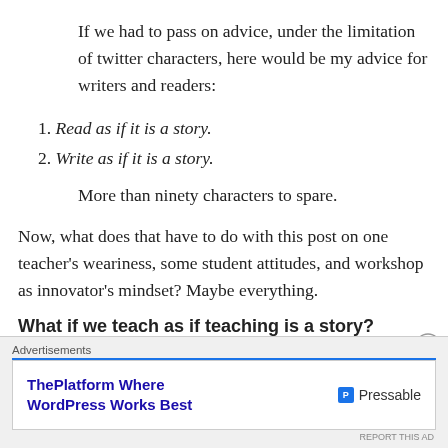If we had to pass on advice, under the limitation of twitter characters, here would be my advice for writers and readers:
Read as if it is a story.
Write as if it is a story.
More than ninety characters to spare.
Now, what does that have to do with this post on one teacher's weariness, some student attitudes, and workshop as innovator's mindset? Maybe everything.
What if we teach as if teaching is a story?
Advertisements
ThePlatform Where WordPress Works Best  Pressable